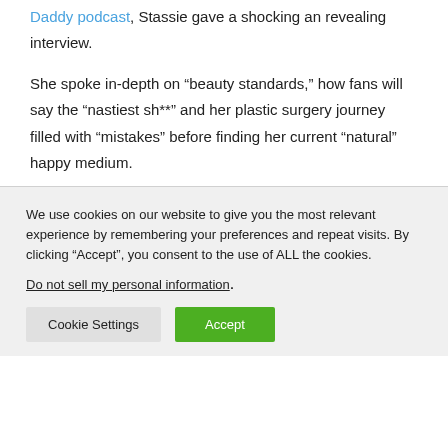Daddy podcast, Stassie gave a shocking and revealing interview.
She spoke in-depth on “beauty standards,” how fans will say the “nastiest sh**” and her plastic surgery journey filled with “mistakes” before finding her current “natural” happy medium.
We use cookies on our website to give you the most relevant experience by remembering your preferences and repeat visits. By clicking “Accept”, you consent to the use of ALL the cookies.
Do not sell my personal information.